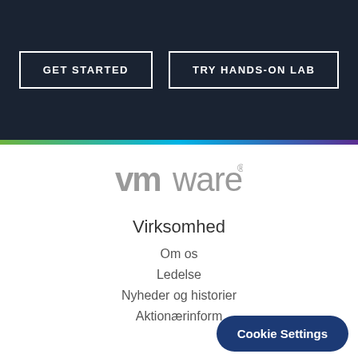[Figure (screenshot): Dark navy header section with two outlined white buttons: GET STARTED and TRY HANDS-ON LAB]
[Figure (logo): VMware logo in gray on white background]
Virksomhed
Om os
Ledelse
Nyheder og historier
Aktionærinform
[Figure (other): Cookie Settings button overlay in dark navy blue with rounded corners]